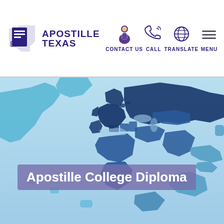APOSTILLE TEXAS — CONTACT US | CALL | TRANSLATE | MENU
[Figure (map): World map illustration in shades of blue showing countries, used as a hero background image for an apostille services website]
Apostille College Diploma